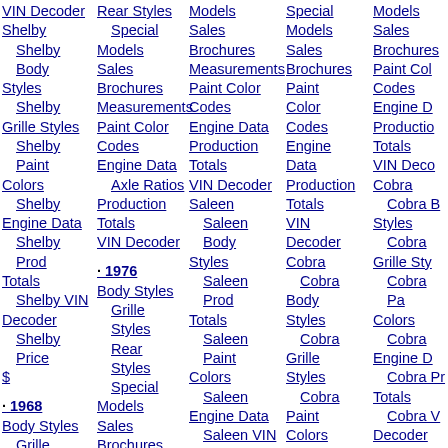VIN Decoder, Shelby, Shelby Body Styles, Shelby Grille Styles, Shelby Paint Colors, Shelby Engine Data, Shelby Prod Totals, Shelby VIN Decoder, Shelby Price $, · 1968, Body Styles, Grille Styles, Rear Styles, Wheel Styles, Special Models, Sales, Brochures
Rear Styles, Special Models, Sales, Brochures, Measurements, Paint Color Codes, Engine Data, Axle Ratios, Production Totals, VIN Decoder, · 1976, Body Styles, Grille Styles, Rear Styles, Special Models, Sales, Brochures, Measurements, Paint Color Codes, Engine Data
Models, Sales, Brochures, Measurements, Paint Color Codes, Engine Data, Production Totals, VIN Decoder, Saleen, Saleen Body Styles, Saleen Prod Totals, Saleen Paint Colors, Saleen Engine Data, Saleen VIN Decoder, · 1986, Body Styles, Grille Styles, Rear Styles
Special Models, Sales, Brochures, Paint Color Codes, Engine Data, Production Totals, VIN Decoder, Cobra, Cobra Body Styles, Cobra Grille Styles, Cobra Paint Colors, Cobra Engine Data, Cobra Production Totals, Cobra VIN Decoder, Cobra Paint Colors, Cobra Engine Data
Models, Sales, Brochures, Paint Color Codes, Engine Data, Production Totals, VIN Decoder, Cobra, Cobra Body Styles, Cobra Grille Styles, Cobra Paint Colors, Cobra Engine Data, Cobra Prod Totals, Cobra VIN Decoder, Saleen, Saleen Body Styles, Saleen